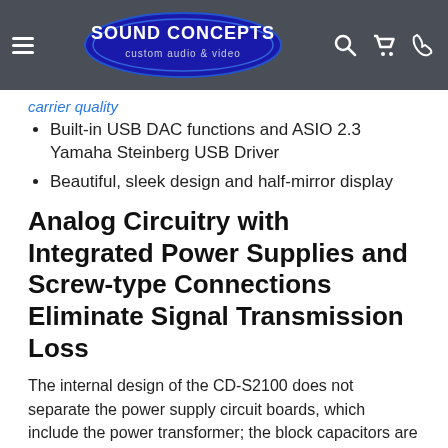[Figure (logo): Sound Concepts custom audio & video logo in blue oval with navigation bar icons on dark gray header]
Built-in USB DAC functions and ASIO 2.3 Yamaha Steinberg USB Driver
Beautiful, sleek design and half-mirror display
Analog Circuitry with Integrated Power Supplies and Screw-type Connections Eliminate Signal Transmission Loss
The internal design of the CD-S2100 does not separate the power supply circuit boards, which include the power transformer; the block capacitors are mounted directly on the respective digital/analog circuit boards. Thus, on